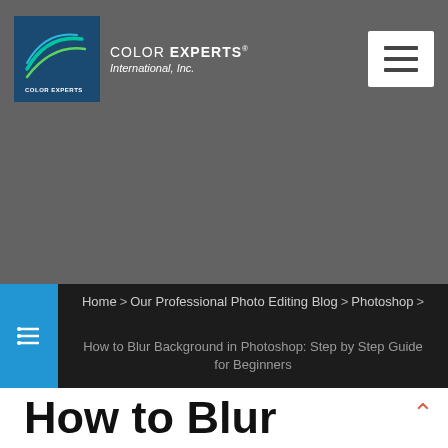[Figure (logo): Color Experts International Inc. logo with teal/green swoosh on dark blue background, followed by company name in white text]
COLOR EXPERTS® International, Inc.
Home > Our Professional Photo Editing Blog > Photoshop >
How to Blur Background in Photoshop: Step by Step Guide for Beginners
How to Blur